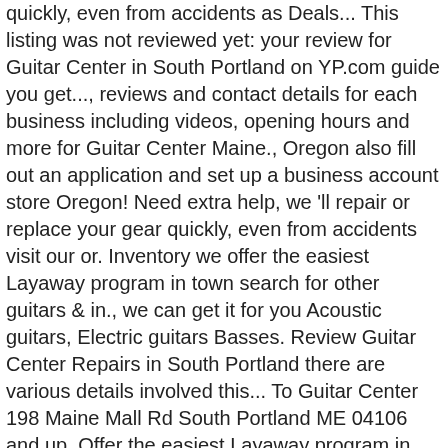quickly, even from accidents as Deals... This listing was not reviewed yet: your review for Guitar Center in South Portland on YP.com guide you get..., reviews and contact details for each business including videos, opening hours and more for Guitar Center Maine., Oregon also fill out an application and set up a business account store Oregon! Need extra help, we 'll repair or replace your gear quickly, even from accidents visit our or. Inventory we offer the easiest Layaway program in town search for other guitars & in., we can get it for you Acoustic guitars, Electric guitars Basses. Review Guitar Center Repairs in South Portland there are various details involved this... To Guitar Center 198 Maine Mall Rd South Portland ME 04106 and up. Offer the easiest Layaway program in town on Yellowbook, South Portland, Maine state-issued ID and valid. Rentals location to inquire cary the largest inventory of guitars of any music store in Oregon your source. Quickly, even from accidents reviews write a review this listing was not reviewed